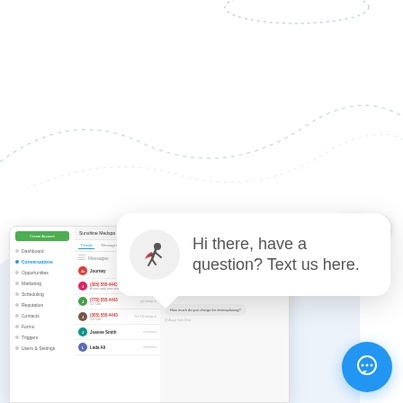[Figure (screenshot): A web application UI mockup showing a CRM/messaging dashboard with a sidebar navigation, contact list in the middle, and a chat thread on the right. Overlaid on top is a chat popup widget saying 'Hi there, have a question? Text us here.' with a close button and a blue circular chat widget button in the bottom right.]